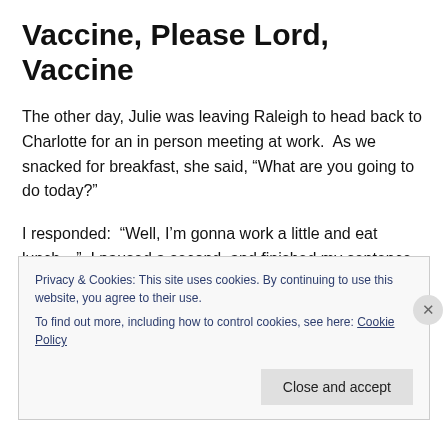Vaccine, Please Lord, Vaccine
The other day, Julie was leaving Raleigh to head back to Charlotte for an in person meeting at work.  As we snacked for breakfast, she said, “What are you going to do today?”
I responded:  “Well, I’m gonna work a little and eat lunch…”, I paused a second, and finished my sentence, “and then, I’m gonna… eat dinner…”
Privacy & Cookies: This site uses cookies. By continuing to use this website, you agree to their use.
To find out more, including how to control cookies, see here: Cookie Policy